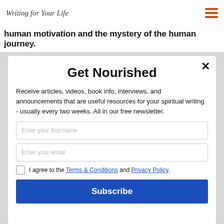Writing for Your Life
human motivation and the mystery of the human journey.
Get Nourished
Receive articles, videos, book info, interviews, and announcements that are useful resources for your spiritual writing - usually every two weeks. All in our free newsletter.
Enter your first name
Enter your email
I agree to the Terms & Conditions and Privacy Policy.
Subscribe